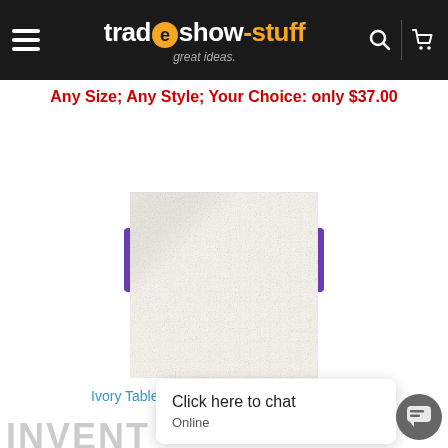tradeshow-stuff — great ideas.
Any Size; Any Style; Your Choice: only $37.00
[Figure (infographic): Purple banner with US flag and truck icon reading FREE standard US SHIPPING]
[Figure (photo): Close-up photo of ivory/cream woven fabric texture for table cover]
Ivory Table Covers: Blank, No Logo Imprint
INVENT
Click here to chat
Online